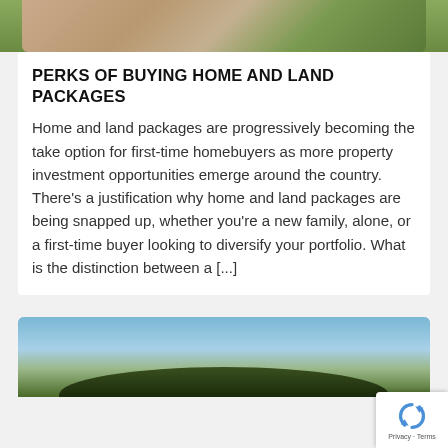[Figure (photo): Top portion of a photo showing two people outdoors on green grass background, partially cropped]
PERKS OF BUYING HOME AND LAND PACKAGES
Home and land packages are progressively becoming the take option for first-time homebuyers as more property investment opportunities emerge around the country. There's a justification why home and land packages are being snapped up, whether you're a new family, alone, or a first-time buyer looking to diversify your portfolio. What is the distinction between a [...]
[Figure (photo): Bottom portion of a photo showing a house roofline against a blue sky with hills in the background, partially cropped]